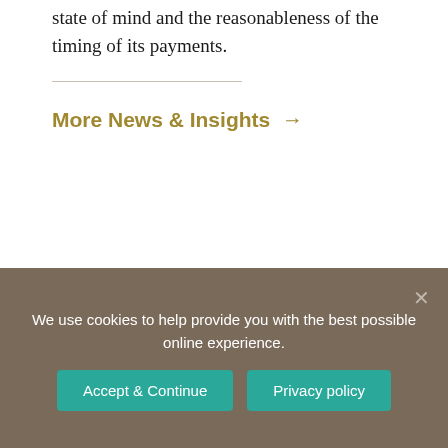state of mind and the reasonableness of the timing of its payments.
More News & Insights →
We use cookies to help provide you with the best possible online experience.
Accept & Continue
Privacy policy